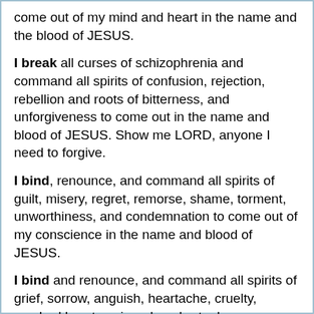come out of my mind and heart in the name and the blood of JESUS.
I break all curses of schizophrenia and command all spirits of confusion, rejection, rebellion and roots of bitterness, and unforgiveness to come out in the name and blood of JESUS. Show me LORD, anyone I need to forgive.
I bind, renounce, and command all spirits of guilt, misery, regret, remorse, shame, torment, unworthiness, and condemnation to come out of my conscience in the name and blood of JESUS.
I bind and renounce, and command all spirits of grief, sorrow, anguish, heartache, cruelty, crushed heart, crying, deep hurt, gloom, melancholy, mourning and a wounded spirit to get out in the name and the blood of JESUS.
I bind the strongman of SLUMBER in the name and the blood of JESUS and I renounce abd command all spirits of